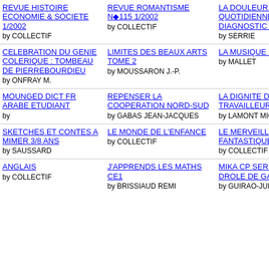REVUE HISTOIRE ECONOMIE & SOCIETE 1/2002 by COLLECTIF
REVUE ROMANTISME N°115 1/2002 by COLLECTIF
LA DOULEUR EN PRATIQUE QUOTIDIENNE 2E EDITION DIAGNOSTIC ET by SERRIE
CELEBRATION DU GENIE COLERIQUE : TOMBEAU DE PIERREBOURDIEU by ONFRAY M.
LIMITES DES BEAUX ARTS TOME 2 by MOUSSARON J.-P.
LA MUSIQUE EN RESPECT by MALLET
MOUNGED DICT FR ARABE ETUDIANT by
REPENSER LA COOPERATION NORD-SUD by GABAS JEAN-JACQUES
LA DIGNITE DES TRAVAILLEURS by LAMONT MICHELE
SKETCHES ET CONTES A MIMER 3/8 ANS by SAUSSARD
LE MONDE DE L'ENFANCE by COLLECTIF
LE MERVEILLEUX ET LE FANTASTIQUE by COLLECTIF
ANGLAIS by COLLECTIF
J'APPRENDS LES MATHS CE1 by BRISSIAUD REMI
MIKA CP SERIE 2 ALBUM DROLE DE GALETTES by GUIRAO-JULLIEN